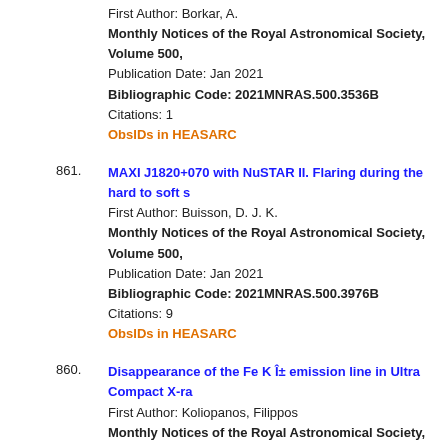First Author: Borkar, A. Monthly Notices of the Royal Astronomical Society, Volume 500, Publication Date: Jan 2021 Bibliographic Code: 2021MNRAS.500.3536B Citations: 1 ObsIDs in HEASARC
861. MAXI J1820+070 with NuSTAR II. Flaring during the hard to soft s First Author: Buisson, D. J. K. Monthly Notices of the Royal Astronomical Society, Volume 500, Publication Date: Jan 2021 Bibliographic Code: 2021MNRAS.500.3976B Citations: 9 ObsIDs in HEASARC
860. Disappearance of the Fe K Î± emission line in Ultra Compact X-ra First Author: Koliopanos, Filippos Monthly Notices of the Royal Astronomical Society, Volume 500, Publication Date: Jan 2021 Bibliographic Code: 2021MNRAS.500.5603K Citations: 3 ObsIDs in HEASARC
859. Discovery of Thermonuclear Type-I X-ray Bursts from the X-ray b First Author: Albayati, A. C. Monthly Notices of the Royal Astronomical Society, Volume 501, Publication Date: Jan 2021 Bibliographic Code: 2021MNRAS.501..261A Citations: 1 ObsIDs in HEASARC